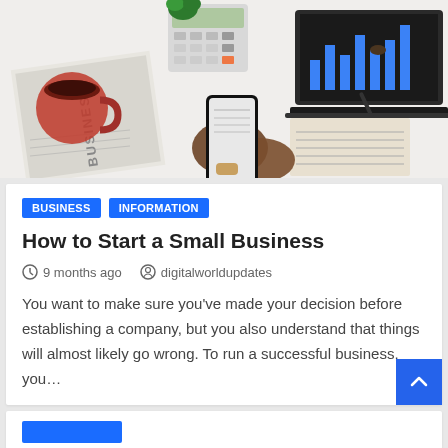[Figure (photo): Overhead view of a business desk with a person holding a smartphone, surrounded by a calculator, coffee cup, business newspaper, laptop showing charts, and financial documents.]
BUSINESS   INFORMATION
How to Start a Small Business
9 months ago   digitalworldupdates
You want to make sure you've made your decision before establishing a company, but you also understand that things will almost likely go wrong. To run a successful business, you…